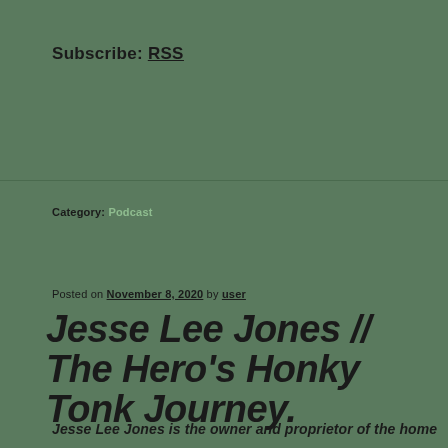Subscribe: RSS
Category: Podcast
Posted on November 8, 2020 by user
Jesse Lee Jones // The Hero's Honky Tonk Journey.
Jesse Lee Jones is the owner and proprietor of the home